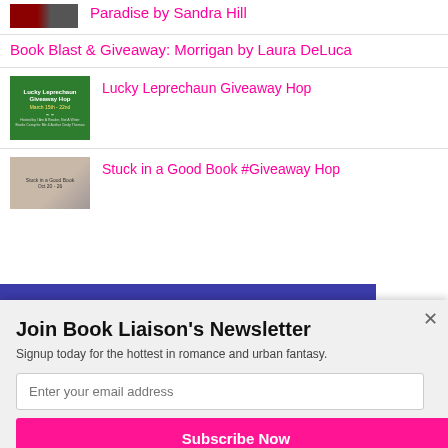Paradise by Sandra Hill
Book Blast & Giveaway: Morrigan by Laura DeLuca
[Figure (illustration): Green banner image for Lucky Leprechaun Giveaway Hop, March 15th - 22nd]
Lucky Leprechaun Giveaway Hop
[Figure (photo): Stuck in a Good Book giveaway hop banner image]
Stuck in a Good Book #Giveaway Hop
Join Book Liaison's Newsletter
Signup today for the hottest in romance and urban fantasy.
Enter your email address
Subscribe Now